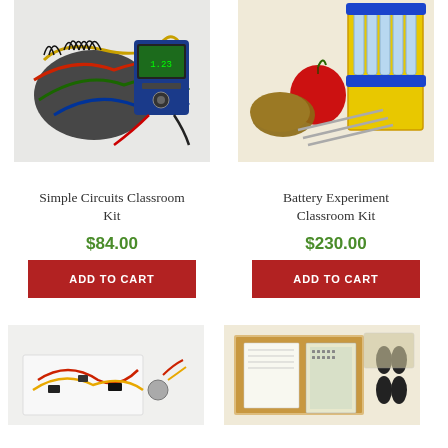[Figure (photo): Simple Circuits Classroom Kit product photo showing colorful wires, alligator clips, and a multimeter on white background]
Simple Circuits Classroom Kit
$84.00
ADD TO CART
[Figure (photo): Battery Experiment Classroom Kit product photo showing test tubes in yellow rack, apple, potato, and metal rods on white background]
Battery Experiment Classroom Kit
$230.00
ADD TO CART
[Figure (photo): Partial product photo showing circuit components with red and yellow wires on white background]
[Figure (photo): Partial product photo showing electronic kit components on cardboard with breadboard and capacitors]